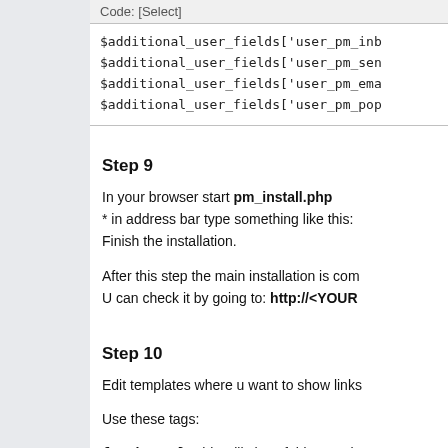Code: [Select]
$additional_user_fields['user_pm_inb
$additional_user_fields['user_pm_sen
$additional_user_fields['user_pm_ema
$additional_user_fields['user_pm_pop
Step 9
In your browser start pm_install.php
* in address bar type something like this:
Finish the installation.
After this step the main installation is com
U can check it by going to: http://<YOUR
Step 10
Edit templates where u want to show links
Use these tags:
{pm_boxes} - this will show folders: "Inb